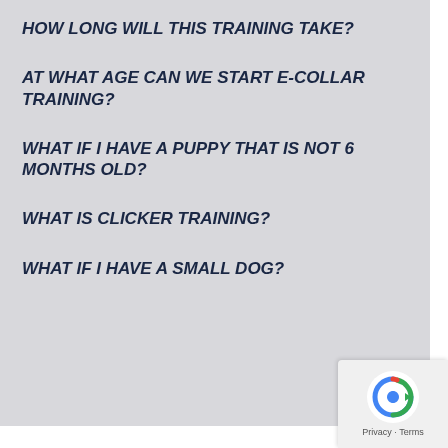HOW LONG WILL THIS TRAINING TAKE?
AT WHAT AGE CAN WE START E-COLLAR TRAINING?
WHAT IF I HAVE A PUPPY THAT IS NOT 6 MONTHS OLD?
WHAT IS CLICKER TRAINING?
WHAT IF I HAVE A SMALL DOG?